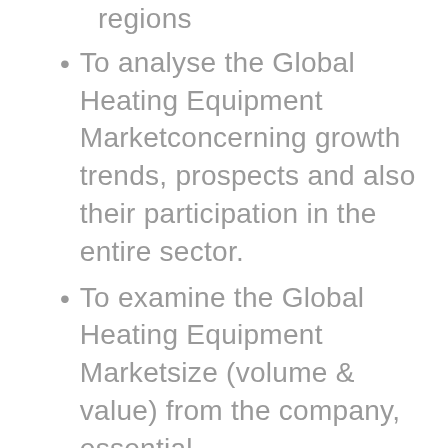regions
To analyse the Global Heating Equipment Marketconcerning growth trends, prospects and also their participation in the entire sector.
To examine the Global Heating Equipment Marketsize (volume & value) from the company, essential regions/countries,